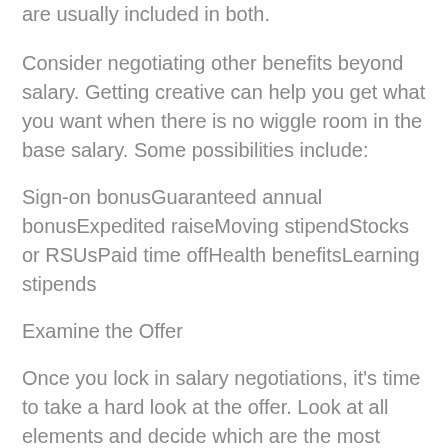are usually included in both.
Consider negotiating other benefits beyond salary. Getting creative can help you get what you want when there is no wiggle room in the base salary. Some possibilities include:
Sign-on bonusGuaranteed annual bonusExpedited raiseMoving stipendStocks or RSUsPaid time offHealth benefitsLearning stipends
Examine the Offer
Once you lock in salary negotiations, it's time to take a hard look at the offer. Look at all elements and decide which are the most